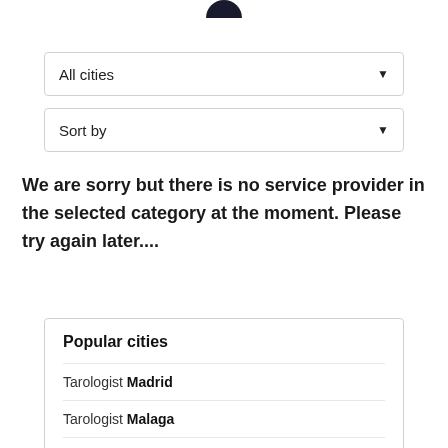[Figure (illustration): Partial dark circular icon visible at top center of page]
All cities
Sort by
We are sorry but there is no service provider in the selected category at the moment. Please try again later....
Popular cities
Tarologist Madrid
Tarologist Malaga
Tarologist Valencia